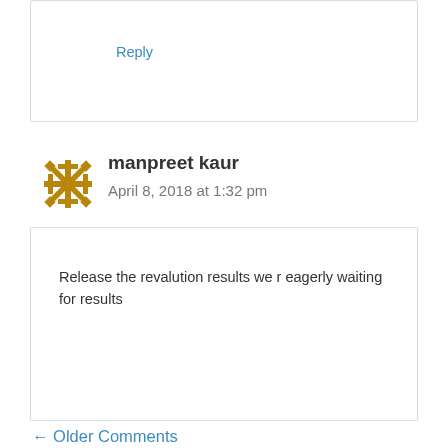Reply
[Figure (illustration): Golden/yellow snowflake-style avatar icon for user manpreet kaur]
manpreet kaur
April 8, 2018 at 1:32 pm
Release the revalution results we r eagerly waiting for results
Reply
← Older Comments